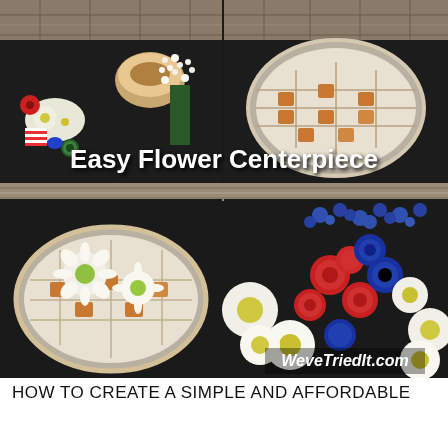[Figure (photo): A 2x2 grid of four photos showing steps to create a flower centerpiece. Top-left: supplies on a dark countertop including flowers, a bowl, and decorative items. Top-right: an oval plate with floral foam pieces arranged in a grid pattern. Over the top two photos is white bold text 'Easy Flower Centerpiece'. Bottom-left: an oval plate with white daisies arranged in water/foam showing early stage. Bottom-right: a completed patriotic flower centerpiece with red roses, blue roses, white daisies, and blue filler flowers. Bottom-right corner has watermark text 'WeveTriedIt.com'.]
HOW TO CREATE A SIMPLE AND AFFORDABLE CENTERPIECE